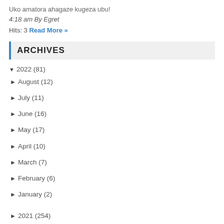Uko amatora ahagaze kugeza ubu!
4:18 am By Egret
Hits: 3 Read More »
ARCHIVES
▼ 2022 (81)
► August (12)
► July (11)
► June (16)
► May (17)
► April (10)
► March (7)
► February (6)
► January (2)
► 2021 (254)
► 2020 (112)